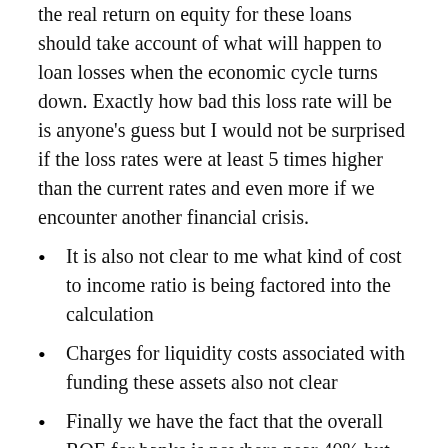the real return on equity for these loans should take account of what will happen to loan losses when the economic cycle turns down. Exactly how bad this loss rate will be is anyone's guess but I would not be surprised if the loss rates were at least 5 times higher than the current rates and even more if we encounter another financial crisis.
It is also not clear to me what kind of cost to income ratio is being factored into the calculation
Charges for liquidity costs associated with funding these assets also not clear
Finally we have the fact that the overall ROE for banks is nowhere near 40% but residential mortgages dominate their